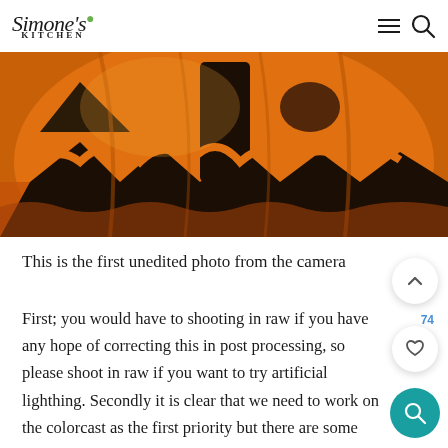Simone's Kitchen
[Figure (photo): Close-up macro photo of a jack-o-lantern pumpkin face carved with jagged teeth and triangular eyes, lit with warm orange glow]
This is the first unedited photo from the camera
First; you would have to shooting in raw if you have any hope of correcting this in post processing, so please shoot in raw if you want to try artificial lighthing. Secondly it is clear that we need to work on the colorcast as the first priority but there are some heavy shadows you need to deal with too. For